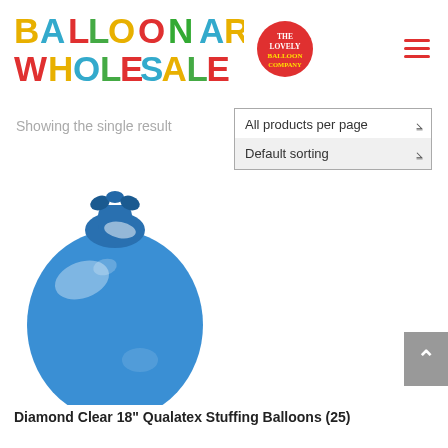[Figure (logo): Balloon Art Wholesale logo with colorful text and 'The Lovely Balloon Company' red circle badge]
Showing the single result
All products per page ▾
Default sorting ▾
[Figure (photo): Blue Qualatex stuffing balloon, round shape with tied top, photographed on white background]
Diamond Clear 18" Qualatex Stuffing Balloons (25)